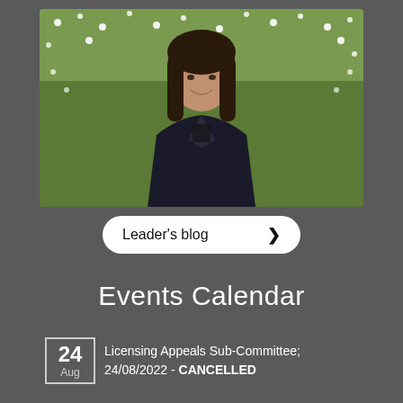[Figure (photo): Woman with dark hair smiling, wearing a black jacket, standing in front of a field of white flowers]
Leader's blog ›
Events Calendar
24 Aug — Licensing Appeals Sub-Committee; 24/08/2022 - CANCELLED